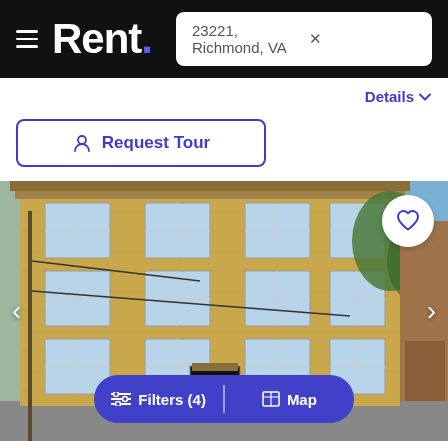Rent. | 23221, Richmond, VA
Details
Request Tour
[Figure (photo): Exterior photo of a multi-story tan/yellow brick apartment building with multiple windows on each floor, blue sky visible in upper right, utility poles and wires in front of the building. Left and right navigation arrows visible on the image sides. Heart/favorite button in upper right. Filters (4) | Map button at bottom.]